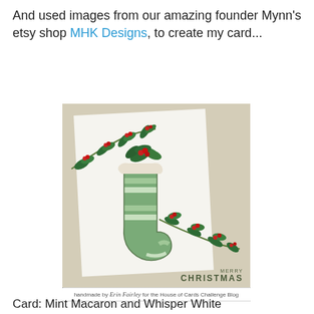And used images from our amazing founder Mynn's etsy shop MHK Designs, to create my card...
[Figure (photo): A handmade Christmas card featuring a green striped stocking with holly sprigs, holly branches top-left and bottom-right, on a white panel over a tan/khaki card base. Text reads 'MERRY CHRISTMAS'. Caption below reads 'handmade by Erin Fairley for the House of Cards Challenge Blog'.]
Card: Mint Macaron and Whisper White